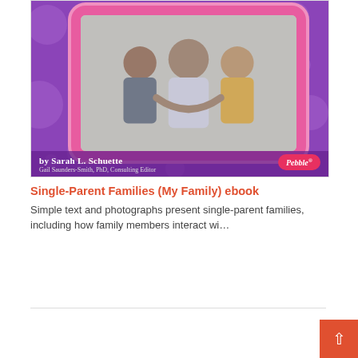[Figure (photo): Book cover of 'Single-Parent Families (My Family)' by Sarah L. Schuette, published by Pebble. Purple background with decorative circles, pink ornate frame containing a photo of three people (a man and two children smiling), author name and consulting editor at bottom.]
Single-Parent Families (My Family) ebook
Simple text and photographs present single-parent families, including how family members interact wi...